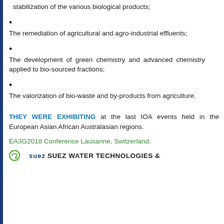stabilization of the various biological products;
The remediation of agricultural and agro-industrial effluents;
The development of green chemistry and advanced chemistry applied to bio-sourced fractions;
The valorization of bio-waste and by-products from agriculture.
THEY WERE EXHIBITING at the last IOA events held in the European Asian African Australasian regions.
EA3G2018 Conference Lausanne, Switzerland.
SUEZ WATER TECHNOLOGIES &